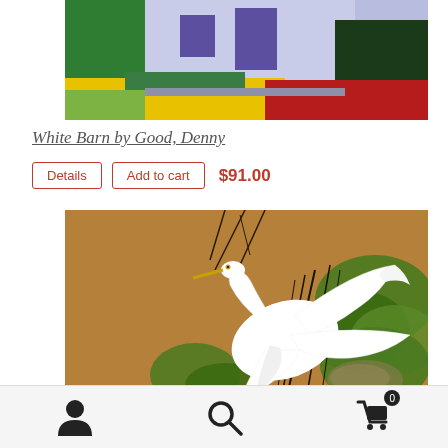[Figure (photo): Painting of a white barn with colorful landscape — green trees, yellow and red fields against a light purple/blue barn facade with purple windows]
White Barn by Good, Denny
Details | Add to cart  $91.00
[Figure (photo): Painting of a white egret in flight among green reeds and leaves on a tan/brown background]
Person icon | Search icon | Cart icon with badge 0